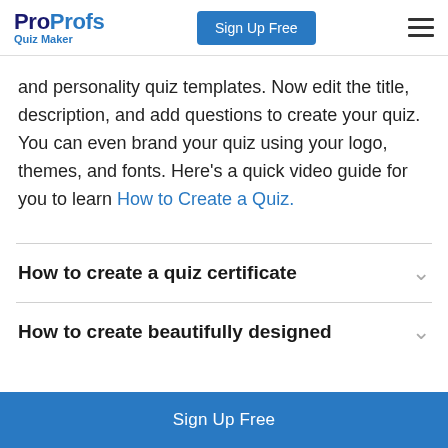ProProfs Quiz Maker | Sign Up Free
and personality quiz templates. Now edit the title, description, and add questions to create your quiz. You can even brand your quiz using your logo, themes, and fonts. Here's a quick video guide for you to learn How to Create a Quiz.
How to create a quiz certificate
How to create beautifully designed
Sign Up Free